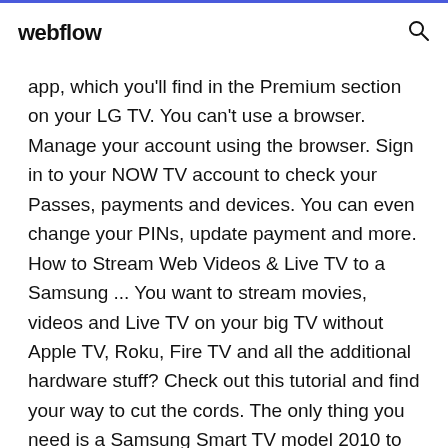webflow
app, which you'll find in the Premium section on your LG TV. You can't use a browser. Manage your account using the browser. Sign in to your NOW TV account to check your Passes, payments and devices. You can even change your PINs, update payment and more. How to Stream Web Videos & Live TV to a Samsung ... You want to stream movies, videos and Live TV on your big TV without Apple TV, Roku, Fire TV and all the additional hardware stuff? Check out this tutorial and find your way to cut the cords. The only thing you need is a Samsung Smart TV model 2010 to 2015 with Internet connection and Smart Hub.